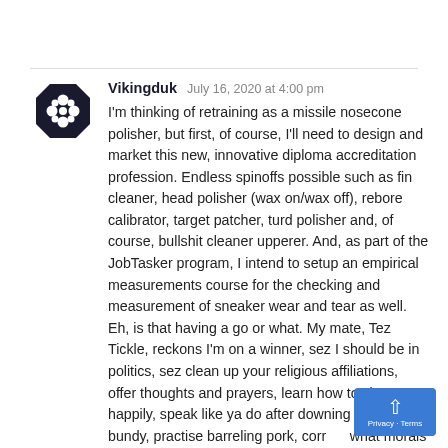[Figure (logo): Dark octagonal badge with a white floral/star emblem — user avatar for Vikingduk]
Vikingduk   July 16, 2020 at 4:00 pm
I'm thinking of retraining as a missile nosecone polisher, but first, of course, I'll need to design and market this new, innovative diploma accreditation profession. Endless spinoffs possible such as fin cleaner, head polisher (wax on/wax off), rebore calibrator, target patcher, turd polisher and, of course, bullshit cleaner upperer. And, as part of the JobTasker program, I intend to setup an empirical measurements course for the checking and measurement of sneaker wear and tear as well. Eh, is that having a go or what. My mate, Tez Tickle, reckons I'm on a winner, sez I should be in politics, sez clean up your religious affiliations, offer thoughts and prayers, learn how to clap, happily, speak like ya do after downing a bottle of bundy, practise barreling pork, corrupt what morals ya got left, mate, he sez, maaan born again liberal no wuckers.